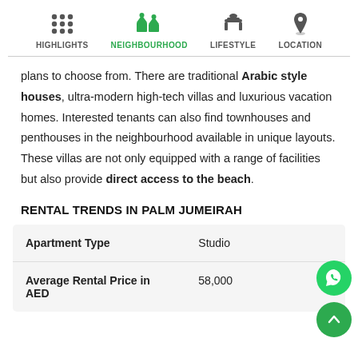HIGHLIGHTS | NEIGHBOURHOOD | LIFESTYLE | LOCATION
plans to choose from. There are traditional Arabic style houses, ultra-modern high-tech villas and luxurious vacation homes. Interested tenants can also find townhouses and penthouses in the neighbourhood available in unique layouts. These villas are not only equipped with a range of facilities but also provide direct access to the beach.
RENTAL TRENDS IN PALM JUMEIRAH
| Apartment Type | Studio |
| --- | --- |
| Average Rental Price in AED | 58,000 |